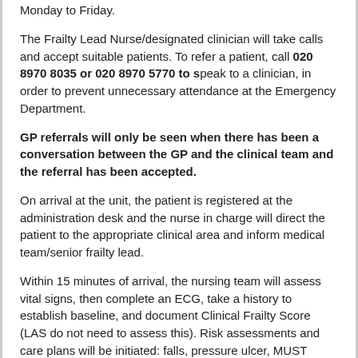Monday to Friday.
The Frailty Lead Nurse/designated clinician will take calls and accept suitable patients. To refer a patient, call 020 8970 8035 or 020 8970 5770 to speak to a clinician, in order to prevent unnecessary attendance at the Emergency Department.
GP referrals will only be seen when there has been a conversation between the GP and the clinical team and the referral has been accepted.
On arrival at the unit, the patient is registered at the administration desk and the nurse in charge will direct the patient to the appropriate clinical area and inform medical team/senior frailty lead.
Within 15 minutes of arrival, the nursing team will assess vital signs, then complete an ECG, take a history to establish baseline, and document Clinical Frailty Score (LAS do not need to assess this). Risk assessments and care plans will be initiated: falls, pressure ulcer, MUST (malnutrition universal screening tool), AMTS (abbreviated mental test score) etc.